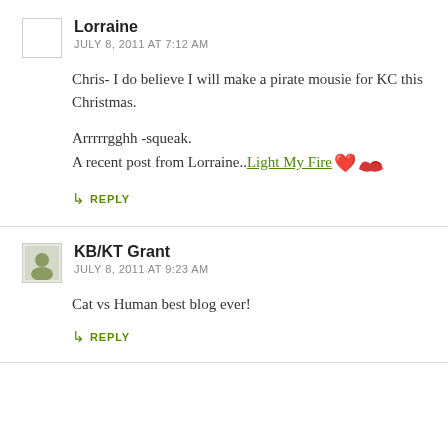Lorraine
JULY 8, 2011 AT 7:12 AM
Chris- I do believe I will make a pirate mousie for KC this Christmas.

Arrrrrgghh -squeak.
A recent post from Lorraine..Light My Fire
REPLY
KB/KT Grant
JULY 8, 2011 AT 9:23 AM
Cat vs Human best blog ever!
REPLY